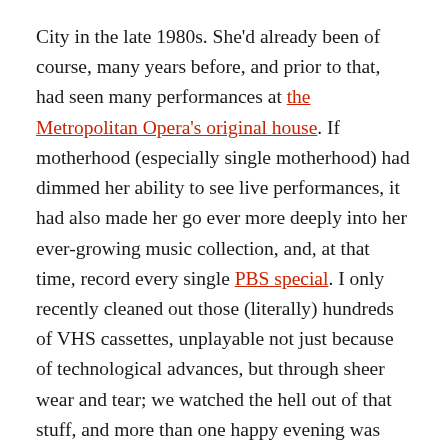City in the late 1980s. She'd already been of course, many years before, and prior to that, had seen many performances at the Metropolitan Opera's original house. If motherhood (especially single motherhood) had dimmed her ability to see live performances, it had also made her go ever more deeply into her ever-growing music collection, and, at that time, record every single PBS special. I only recently cleaned out those (literally) hundreds of VHS cassettes, unplayable not just because of technological advances, but through sheer wear and tear; we watched the hell out of that stuff, and more than one happy evening was spent staring and listening, sipping on root beer floats.
Returning to the Met was, looking back on it, a kind of